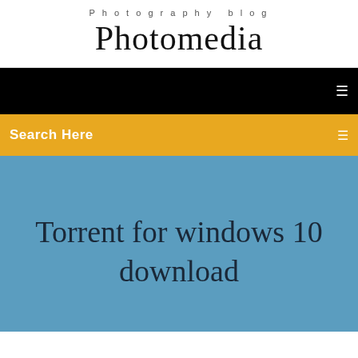Photography blog
Photomedia
[Figure (screenshot): Black navigation bar with white menu icon on the right]
[Figure (screenshot): Gold/yellow search bar with 'Search Here' text on left and icon on right]
Torrent for windows 10 download